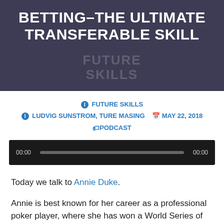BETTING–THE ULTIMATE TRANSFERABLE SKILL
FUTURE SKILLS (watermark)
ℹ FUTURE SKILLS
ℹ LUDVIG SUNSTROM, TURE MASING   📅 MAY 22, 2018
🏷PODCAST
[Figure (other): Audio player bar showing 00:00 timestamp on left, progress bar in middle, 00:00 on right, dark background]
Today we talk to Annie Duke.
Annie is best known for her career as a professional poker player, where she has won a World Series of